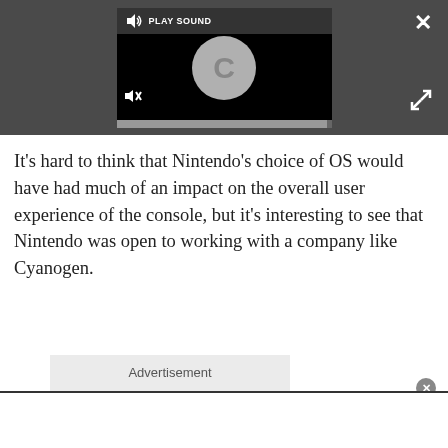[Figure (screenshot): Video/audio player UI with dark background, play sound button, loading spinner with letter C, mute button, progress bar, close button (X), and expand button. Set against a dark gray overlay panel.]
It’s hard to think that Nintendo’s choice of OS would have had much of an impact on the overall user experience of the console, but it’s interesting to see that Nintendo was open to working with a company like Cyanogen.
Advertisement